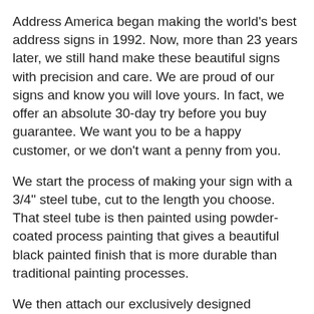Address America began making the world's best address signs in 1992. Now, more than 23 years later, we still hand make these beautiful signs with precision and care. We are proud of our signs and know you will love yours. In fact, we offer an absolute 30-day try before you buy guarantee. We want you to be a happy customer, or we don't want a penny from you.
We start the process of making your sign with a 3/4" steel tube, cut to the length you choose. That steel tube is then painted using powder-coated process painting that gives a beautiful black painted finish that is more durable than traditional painting processes.
We then attach our exclusively designed polypropylene sign bracket to the post using galvanized bolts and powder coated nuts. This polypropylene bracket is made of the same material that is used to make automotive batteries and other products used in the most extreme environments. We use polypropylene to